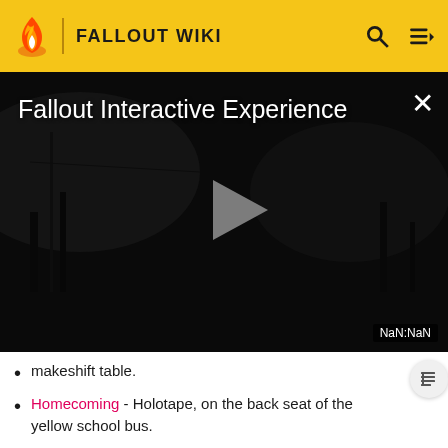FALLOUT WIKI
[Figure (screenshot): Dark atmospheric video player showing 'Fallout Interactive Experience' with a play button in the center and NaN:NaN timestamp at bottom right]
makeshift table.
Homecoming - Holotape, on the back seat of the yellow school bus.
Lou's goodbye note - Note, on a table in Lou's room in the Core, only during Cheating Death.